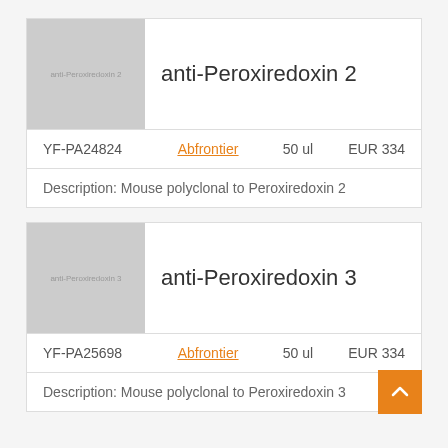anti-Peroxiredoxin 2
| ID | Supplier | Volume | Price |
| --- | --- | --- | --- |
| YF-PA24824 | Abfrontier | 50 ul | EUR 334 |
Description: Mouse polyclonal to Peroxiredoxin 2
anti-Peroxiredoxin 3
| ID | Supplier | Volume | Price |
| --- | --- | --- | --- |
| YF-PA25698 | Abfrontier | 50 ul | EUR 334 |
Description: Mouse polyclonal to Peroxiredoxin 3